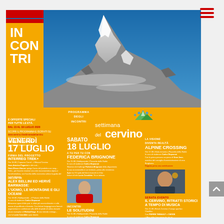[Figure (photo): Hamburger menu icon with three red horizontal bars, top right corner]
[Figure (photo): Settimana del Cervino event poster. Mountain photo (Matterhorn/Cervino snowy peak against blue sky) in upper portion. Yellow/orange background in lower portion with event program details. Large white text 'IN CON TRI' on left yellow block. Logo 'settimana del cervino' with mountain icon top right. Program listing Venerdi 17 Luglio and Sabato 18 Luglio events including Firma del Progetto Interreg Trek+, Alex Bellini ed Hervé Barmasse talk, A tu per tu con Federica Brignone, Le Solitudini, Alpine Crossing, and Il Cervino Ritratti Storici a Tempo di Musica.]